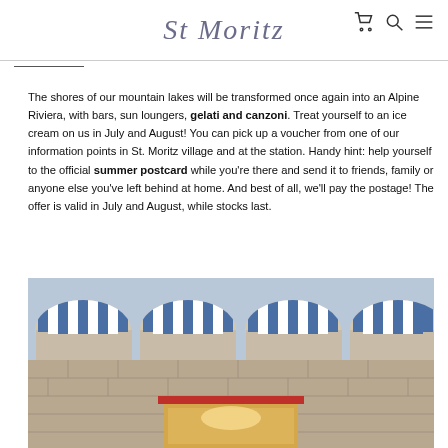St Moritz
The shores of our mountain lakes will be transformed once again into an Alpine Riviera, with bars, sun loungers, gelati and canzoni. Treat yourself to an ice cream on us in July and August! You can pick up a voucher from one of our information points in St. Moritz village and at the station. Handy hint: help yourself to the official summer postcard while you're there and send it to friends, family or anyone else you've left behind at home. And best of all, we'll pay the postage! The offer is valid in July and August, while stocks last.
[Figure (photo): Photo of a stone building exterior with blue and white striped awnings and a red window frame/door, partially visible interior with a person below.]